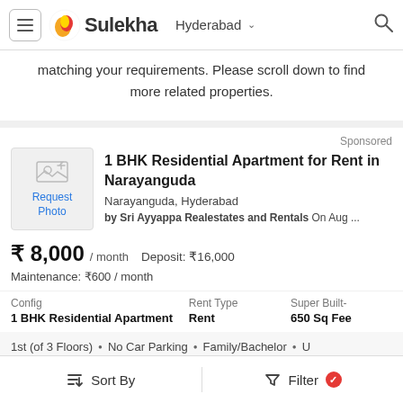Sulekha — Hyderabad
matching your requirements. Please scroll down to find more related properties.
Sponsored
1 BHK Residential Apartment for Rent in Narayanguda
Narayanguda, Hyderabad
by Sri Ayyappa Realestates and Rentals On Aug ...
₹ 8,000 / month   Deposit: ₹16,000
Maintenance: ₹600 / month
| Config | Rent Type | Super Built- |
| --- | --- | --- |
| 1 BHK Residential Apartment | Rent | 650 Sq Fee |
1st (of 3 Floors)  •  No Car Parking  •  Family/Bachelor  •  U
Sort By   Filter